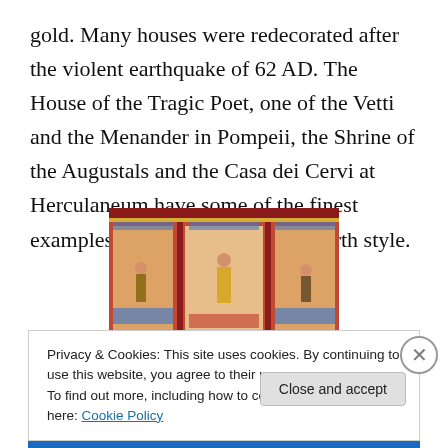gold. Many houses were redecorated after the violent earthquake of 62 AD. The House of the Tragic Poet, one of the Vetti and the Menander in Pompeii, the Shrine of the Augustals and the Casa dei Cervi at Herculaneum have some of the finest examples of decorations in the fourth style.
[Figure (photo): A Roman fresco painting showing three figures in an ornate architectural setting with red columns and decorative panels, depicting classical Roman fourth style wall painting.]
Privacy & Cookies: This site uses cookies. By continuing to use this website, you agree to their use.
To find out more, including how to control cookies, see here: Cookie Policy
Close and accept